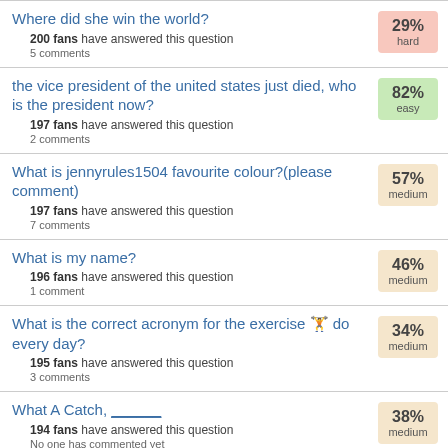Where did she win the world? 200 fans have answered this question 5 comments 29% hard
the vice president of the united states just died, who is the president now? 197 fans have answered this question 2 comments 82% easy
What is jennyrules1504 favourite colour?(please comment) 197 fans have answered this question 7 comments 57% medium
What is my name? 196 fans have answered this question 1 comment 46% medium
What is the correct acronym for the exercise 🏋 do every day? 195 fans have answered this question 3 comments 34% medium
What A Catch, ______ 194 fans have answered this question No one has commented yet 38% medium